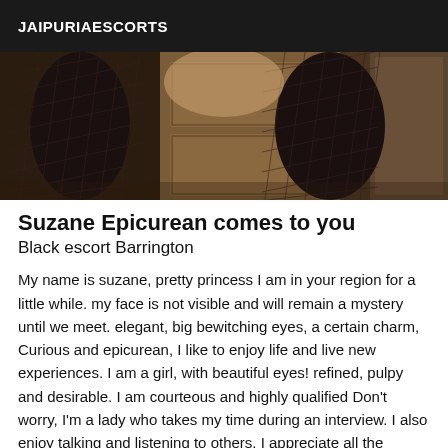JAIPURIAESCORTS
[Figure (photo): Photo showing a person wearing black fishnet stockings, lower body visible, standing near a wooden door in a dimly lit room with warm tones.]
Suzane Epicurean comes to you
Black escort Barrington
My name is suzane, pretty princess I am in your region for a little while. my face is not visible and will remain a mystery until we meet. elegant, big bewitching eyes, a certain charm, Curious and epicurean, I like to enjoy life and live new experiences. I am a girl, with beautiful eyes! refined, pulpy and desirable. I am courteous and highly qualified Don't worry, I'm a lady who takes my time during an interview. I also enjoy talking and listening to others. I appreciate all the pleasures of